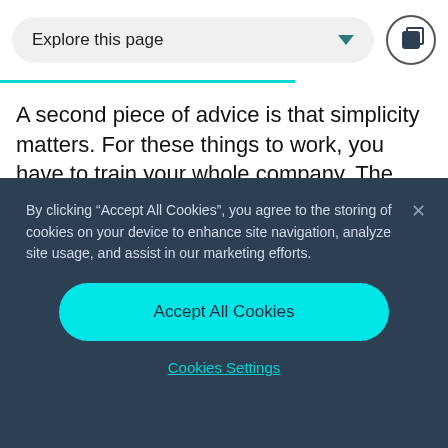[Figure (screenshot): Explore this page dropdown navigation button with teal arrow, and a circular button with a square icon on the right]
A second piece of advice is that simplicity matters. For these things to work, you have to train your whole company. The first time I did this, I worked with one of the big consulting companies and they did a great job,
By clicking "Accept All Cookies", you agree to the storing of cookies on your device to enhance site navigation, analyze site usage, and assist in our marketing efforts.
Accept All Cookies
Cookies Settings